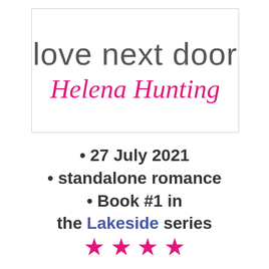[Figure (illustration): Book cover image area showing title 'love next door' in gray thin font and author name 'Helena Hunting' in pink cursive/italic font, inside a white box with thin border]
• 27 July 2021
• standalone romance
• Book #1 in the Lakeside series
[Figure (illustration): Four pink star rating symbols]